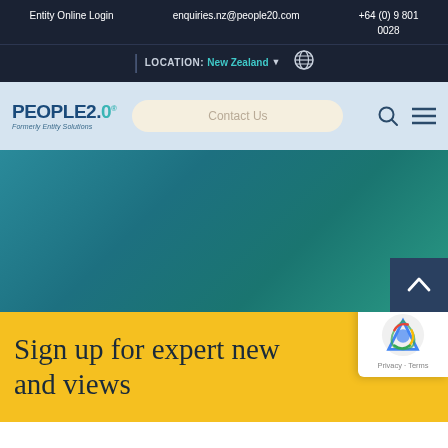Entity Online Login | enquiries.nz@people20.com | +64 (0) 9 801 0028
LOCATION: New Zealand
[Figure (logo): People2.0 logo with text 'Formerly Entity Solutions']
Contact Us
[Figure (screenshot): Teal/green gradient hero section with scroll-to-top button]
Sign up for expert news and views